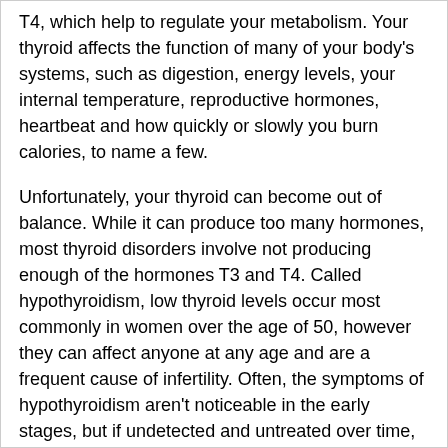T4, which help to regulate your metabolism. Your thyroid affects the function of many of your body's systems, such as digestion, energy levels, your internal temperature, reproductive hormones, heartbeat and how quickly or slowly you burn calories, to name a few.
Unfortunately, your thyroid can become out of balance. While it can produce too many hormones, most thyroid disorders involve not producing enough of the hormones T3 and T4. Called hypothyroidism, low thyroid levels occur most commonly in women over the age of 50, however they can affect anyone at any age and are a frequent cause of infertility. Often, the symptoms of hypothyroidism aren't noticeable in the early stages, but if undetected and untreated over time, can cause a myriad of health issues. Some of the most commonly reported symptoms include joint pain, feeling cold, poor energy levels, obesity and infertility.